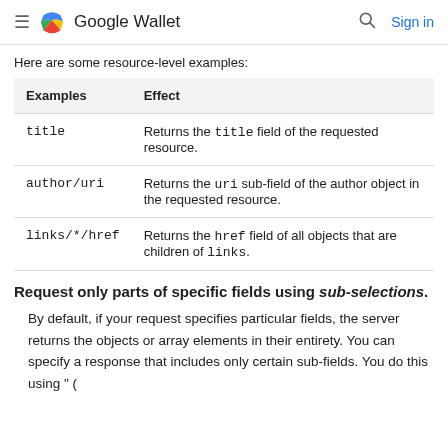Google Wallet | Sign in
Here are some resource-level examples:
| Examples | Effect |
| --- | --- |
| title | Returns the title field of the requested resource. |
| author/uri | Returns the uri sub-field of the author object in the requested resource. |
| links/*/href | Returns the href field of all objects that are children of links. |
Request only parts of specific fields using sub-selections.
By default, if your request specifies particular fields, the server returns the objects or array elements in their entirety. You can specify a response that includes only certain sub-fields. You do this using " (